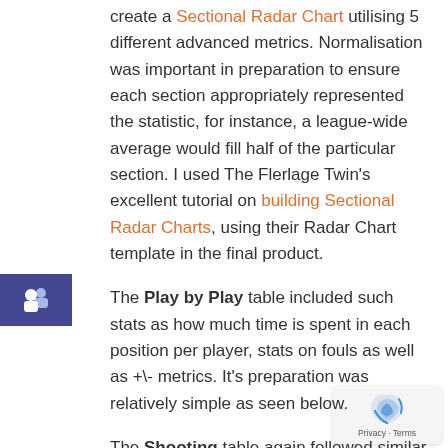create a Sectional Radar Chart utilising 5 different advanced metrics. Normalisation was important in preparation to ensure each section appropriately represented the statistic, for instance, a league-wide average would fill half of the particular section. I used The Flerlage Twin's excellent tutorial on building Sectional Radar Charts, using their Radar Chart template in the final product.
The Play by Play table included such stats as how much time is spent in each position per player, stats on fouls as well as +\- metrics. It's preparation was relatively simple as seen below.
The Shooting table again followed similar preparation as the previous two. My intention was to plot a player's shooting range through a circle timeline (or something similar to), so this required some data manipulation and two exports.